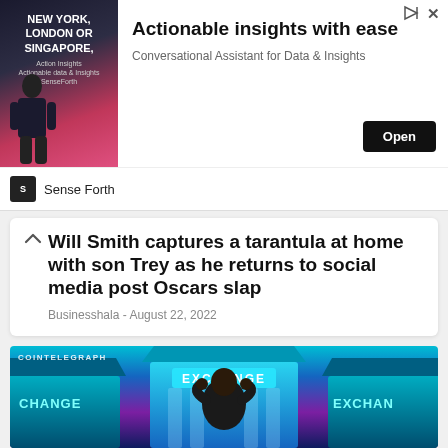[Figure (screenshot): Advertisement banner for 'Sense Forth' — Actionable insights with ease, Conversational Assistant for Data & Insights, with Open button. Image shows a man with text: NEW YORK, LONDON OR SINGAPORE.]
Will Smith captures a tarantula at home with son Trey as he returns to social media post Oscars slap
Businesshala - August 22, 2022
[Figure (illustration): Cointelegraph branded illustration showing a man from behind facing three exchange buildings labeled EXCHANGE, set against a blue/purple digital background with circuit patterns.]